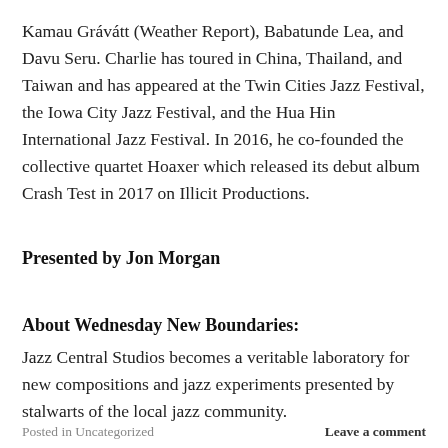Kamau Grávátt (Weather Report), Babatunde Lea, and Davu Seru. Charlie has toured in China, Thailand, and Taiwan and has appeared at the Twin Cities Jazz Festival, the Iowa City Jazz Festival, and the Hua Hin International Jazz Festival. In 2016, he co-founded the collective quartet Hoaxer which released its debut album Crash Test in 2017 on Illicit Productions.
Presented by Jon Morgan
About Wednesday New Boundaries:
Jazz Central Studios becomes a veritable laboratory for new compositions and jazz experiments presented by stalwarts of the local jazz community.
Posted in Uncategorized   Leave a comment